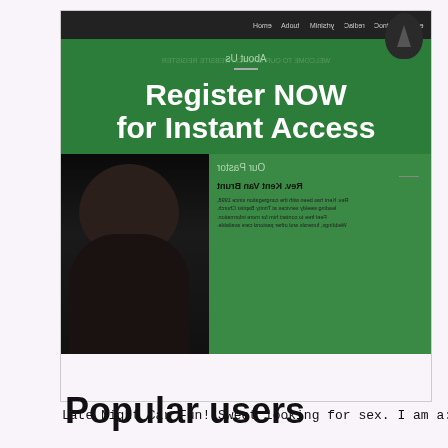[Figure (screenshot): Screenshot of a church website overlaid with 'Register NOW for Instant Access' text promoting adult content. Shows mirrored/reversed website interface with green sections, navigation bar, photo of a bearded man, and pastor information.]
Late Night Car Fun! Sweet looking for sex. I am a:.
Popular users